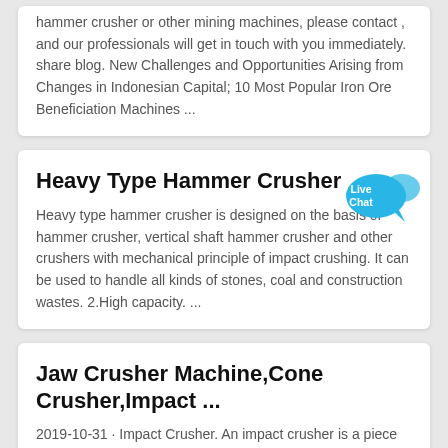hammer crusher or other mining machines, please contact , and our professionals will get in touch with you immediately. share blog. New Challenges and Opportunities Arising from Changes in Indonesian Capital; 10 Most Popular Iron Ore Beneficiation Machines ...
Heavy Type Hammer Crusher
Heavy type hammer crusher is designed on the basis of hammer crusher, vertical shaft hammer crusher and other crushers with mechanical principle of impact crushing. It can be used to handle all kinds of stones, coal and construction wastes. 2.High capacity. ...
Jaw Crusher Machine,Cone Crusher,Impact ...
2019-10-31 · Impact Crusher. An impact crusher is a piece of heavy construction equipment people can use to reduce